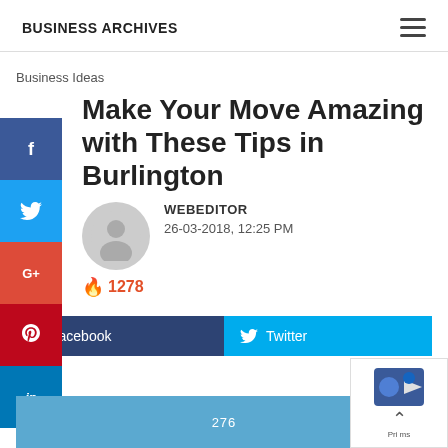BUSINESS ARCHIVES
Business Ideas
Make Your Move Amazing with These Tips in Burlington
WEBEDITOR
26-03-2018, 12:25 PM
1278
Facebook  Twitter